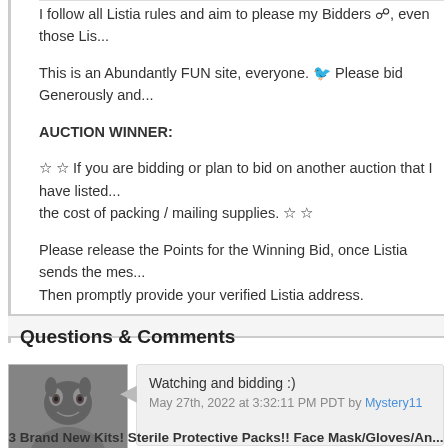I follow all Listia rules and aim to please my Bidders ☯; even those Lis...
This is an Abundantly FUN site, everyone. 🐾 Please bid Generously and...
AUCTION WINNER:
☆ ☆ If you are bidding or plan to bid on another auction that I have listed... the cost of packing / mailing supplies. ☆ ☆
Please release the Points for the Winning Bid, once Listia sends the mes... Then promptly provide your verified Listia address.
Thank YOU!! ☺ ☺
Questions & Comments
Watching and bidding :)
May 27th, 2022 at 3:32:11 PM PDT by Mystery11
3 Brand New Kits! Sterile Protective Packs!! Face Mask/Gloves/An...